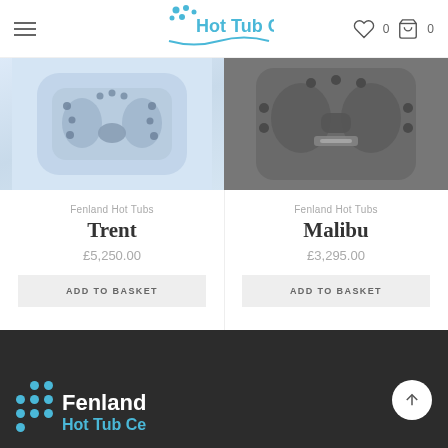Hot Tub Centre — navigation header with hamburger menu, logo, heart icon (0), basket icon (0)
[Figure (photo): Top-down view of Trent hot tub in white/blue-grey color]
Fenland Hot Tubs
Trent
£5,250.00
ADD TO BASKET
[Figure (photo): Top-down view of Malibu hot tub in dark grey color]
Fenland Hot Tubs
Malibu
£3,295.00
ADD TO BASKET
Fenland Hot Tub Centre — dark footer with logo, dots, and scroll-to-top button